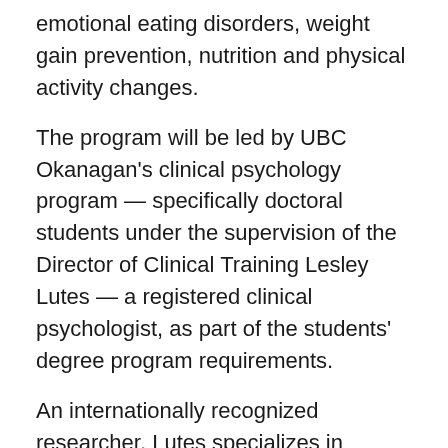emotional eating disorders, weight gain prevention, nutrition and physical activity changes.
The program will be led by UBC Okanagan's clinical psychology program — specifically doctoral students under the supervision of the Director of Clinical Training Lesley Lutes — a registered clinical psychologist, as part of the students' degree program requirements.
An internationally recognized researcher, Lutes specializes in weight management treatment aimed at disease prevention and health promotion. Her research is largely aimed at adults and children in under-served populations, and she has developed an evidence-based small changes treatment program.
The service includes a 12-week weight loss cognitive-behavioural group therapy program co-facilitated by two clinicians. Group sessions will take place